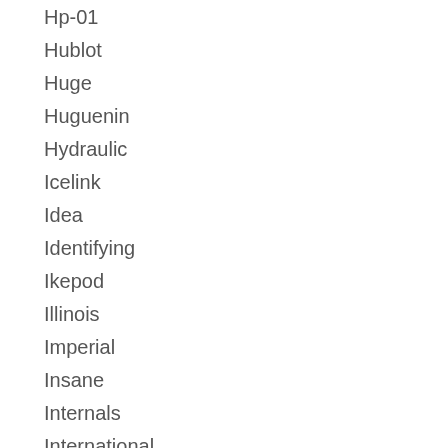Hp-01
Hublot
Huge
Huguenin
Hydraulic
Icelink
Idea
Identifying
Ikepod
Illinois
Imperial
Insane
Internals
International
Invicta